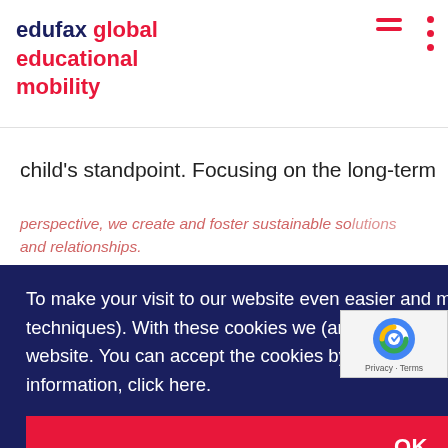edufax global educational mobility
child's standpoint. Focusing on the long-term
perspective, we create and foster sustainable solutions and relationships.
To make your visit to our website even easier and more personal, we use cookies (and similar techniques). With these cookies we (and third parties) can track and analyze your behavior on our website. You can accept the cookies by clicking on 'OK'. If you want to disable cookies or want more information, click here.
OK
We empower students to go beyond boundaries.
[Figure (logo): nob logo, blue circle logo, ESOS NL logo at bottom of page]
[Figure (other): reCAPTCHA badge bottom right]